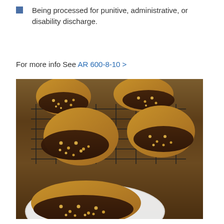Being processed for punitive, administrative, or disability discharge.
For more info See AR 600-8-10 >
[Figure (photo): Photograph of chocolate-dipped peanut butter cookies topped with chopped peanuts, arranged on a wire cooling rack and in a white bowl, on a wooden surface.]